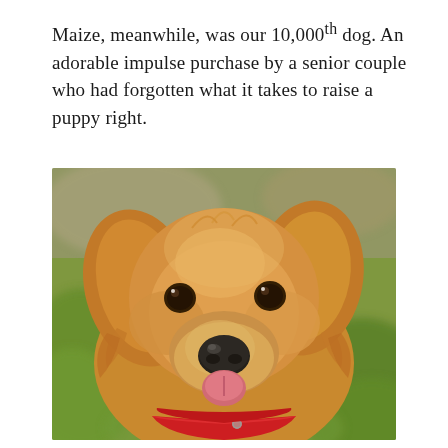Maize, meanwhile, was our 10,000th dog. An adorable impulse purchase by a senior couple who had forgotten what it takes to raise a puppy right.
[Figure (photo): Close-up portrait of a golden retriever puppy with fluffy golden fur, dark eyes, black nose, tongue slightly out, wearing a red collar/bandana, with blurred green grass and bokeh background.]